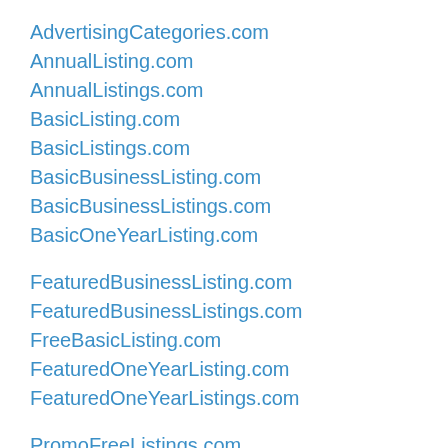AdvertisingCategories.com
AnnualListing.com
AnnualListings.com
BasicListing.com
BasicListings.com
BasicBusinessListing.com
BasicBusinessListings.com
BasicOneYearListing.com
FeaturedBusinessListing.com
FeaturedBusinessListings.com
FreeBasicListing.com
FeaturedOneYearListing.com
FeaturedOneYearListings.com
PromoFreeListings.com
PromotionalFreeListings.com
YearlyListing.com